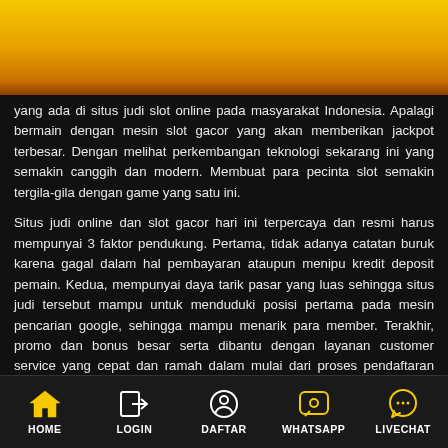[Figure (other): Yellow-to-dark-orange gradient header banner]
yang ada di situs judi slot online pada masyarakat Indonesia. Apalagi bermain dengan mesin slot gacor yang akan memberikan jackpot terbesar. Dengan melihat perkembangan teknologi sekarang ini yang semakin canggih dan modern. Membuat para pecinta slot semakin tergila-gila dengan game yang satu ini.
Situs judi online dan slot gacor hari ini terpercaya dan resmi harus mempunyai 3 faktor pendukung. Pertama, tidak adanya catatan buruk karena gagal dalam hal pembayaran ataupun menipu kredit deposit pemain. Kedua, mempunyai daya tarik pasar yang luas sehingga situs judi tersebut mampu untuk menduduki posisi pertama pada mesin pencarian google, sehingga mampu menarik para member. Terakhir, promo dan bonus besar serta dibantu dengan layanan customer service yang cepat dan ramah dalam mulai dari proses pendaftaran hingga transaksi deposit withdraw.
Jika ketiga hal diatas sudah dipenuhi oleh agen judi online tersebut, maka anda hanya perlu mendaftar melalui situs judi online resmi dan terpercaya macam GERCEP88. Semua jenis
HOME  LOGIN  DAFTAR  WHATSAPP  LIVECHAT